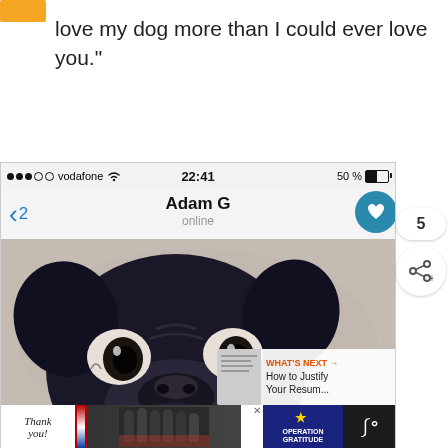love my dog more than I could ever love you."
[Figure (screenshot): Mobile phone screenshot showing a chat app. Status bar shows vodafone network, 22:41 time, 50% battery. Chat header shows 'Adam G' with 'online' status and back button '<2'. Chat area shows an image of a black pug dog face close-up on a decorative background. Side overlay shows a heart button, share count '5', and share button. 'WHAT'S NEXT' panel shows 'How to Justify Your Resum...' Advertisement bar at bottom shows 'Thank you!' with Operation Gratitude logo and firefighters photo.]